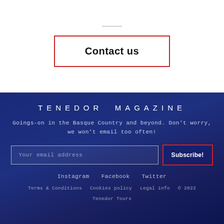Contact us
TENEDOR MAGAZINE
Goings-on in the Basque Country and beyond. Don't worry, we won't email too often!
Your email address
Subscribe!
Instagram   Facebook   Twitter
Terms & Conditions   Cookies policy   Legal info   © 2022   Tenedor Tours